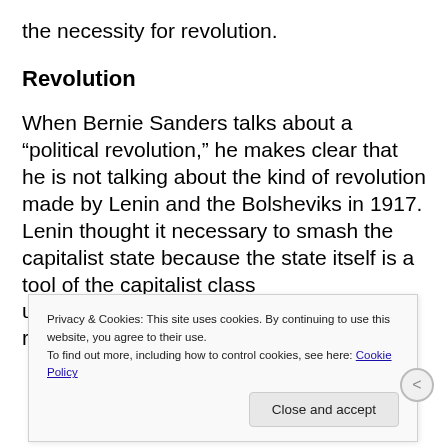the necessity for revolution.
Revolution
When Bernie Sanders talks about a “political revolution,” he makes clear that he is not talking about the kind of revolution made by Lenin and the Bolsheviks in 1917. Lenin thought it necessary to smash the capitalist state because the state itself is a tool of the capitalist class u... r...
Privacy & Cookies: This site uses cookies. By continuing to use this website, you agree to their use.
To find out more, including how to control cookies, see here: Cookie Policy
Close and accept